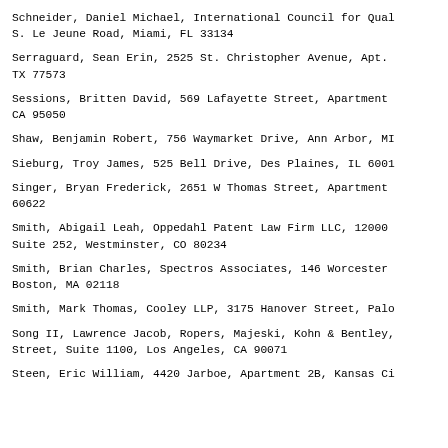Schneider, Daniel Michael, International Council for Qual S. Le Jeune Road, Miami, FL 33134
Serraguard, Sean Erin, 2525 St. Christopher Avenue, Apt. TX 77573
Sessions, Britten David, 569 Lafayette Street, Apartment CA 95050
Shaw, Benjamin Robert, 756 Waymarket Drive, Ann Arbor, MI
Sieburg, Troy James, 525 Bell Drive, Des Plaines, IL 6001
Singer, Bryan Frederick, 2651 W Thomas Street, Apartment 60622
Smith, Abigail Leah, Oppedahl Patent Law Firm LLC, 12000 Suite 252, Westminster, CO 80234
Smith, Brian Charles, Spectros Associates, 146 Worcester Boston, MA 02118
Smith, Mark Thomas, Cooley LLP, 3175 Hanover Street, Palo
Song II, Lawrence Jacob, Ropers, Majeski, Kohn & Bentley, Street, Suite 1100, Los Angeles, CA 90071
Steen, Eric William, 4420 Jarboe, Apartment 2B, Kansas Ci